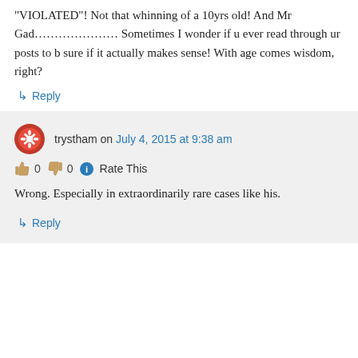“VIOLATED”! Not that whinning of a 10yrs old! And Mr Gad………………… Sometimes I wonder if u ever read through ur posts to b sure if it actually makes sense! With age comes wisdom, right?
↳ Reply
trystham on July 4, 2015 at 9:38 am
👍 0 👎 0 ℹ Rate This
Wrong. Especially in extraordinarily rare cases like his.
↳ Reply